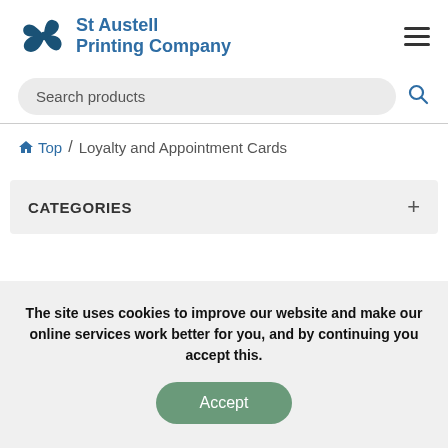[Figure (logo): St Austell Printing Company logo with teal/blue windmill icon and company name text]
Search products
Top / Loyalty and Appointment Cards
CATEGORIES
The site uses cookies to improve our website and make our online services work better for you, and by continuing you accept this.